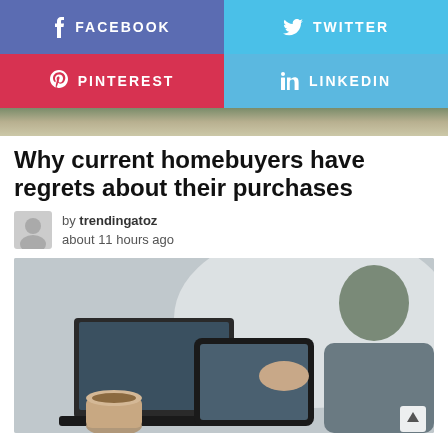[Figure (infographic): Social media share buttons: Facebook (purple-blue), Twitter (light blue), Pinterest (red), LinkedIn (light blue)]
[Figure (photo): Partial outdoor/nature hero image strip]
Why current homebuyers have regrets about their purchases
by trendingatoz about 11 hours ago
[Figure (photo): Person using a tablet at a desk with a laptop and coffee cup in the background]